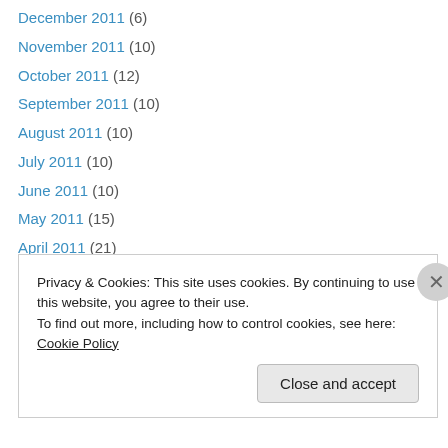December 2011 (6)
November 2011 (10)
October 2011 (12)
September 2011 (10)
August 2011 (10)
July 2011 (10)
June 2011 (10)
May 2011 (15)
April 2011 (21)
March 2011 (16)
February 2011 (9)
January 2011 (8)
December 2010 (11)
November 2010 (14)
Privacy & Cookies: This site uses cookies. By continuing to use this website, you agree to their use.
To find out more, including how to control cookies, see here: Cookie Policy
Close and accept